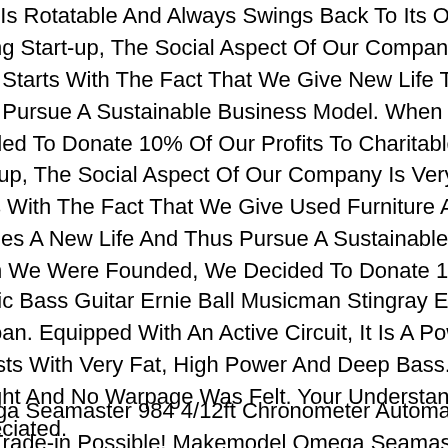t Is Rotatable And Always Swings Back To Its Original Position. As a growing Start-up, The Social Aspect Of Our Company Is Very Important to us. It Starts With The Fact That We Give New Life To Used Furniture and articles. We Pursue A Sustainable Business Model. When We Were Founded, we Decided To Donate 10% Of Our Profits To Charitable Causes. As A Young start-up, The Social Aspect Of Our Company Is Very Important To Us. It starts With The Fact That We Give Used Furniture And, More Recently, Other articles A New Life And Thus Pursue A Sustainable Business Model. When We Were Founded, We Decided To Donate 10% Of Our Profits
Electric Bass Guitar Ernie Ball Musicman Stingray Ex Blue Metallic Maple loan. Equipped With An Active Circuit, It Is A Powerful Sound For Rock artists With Very Fat, High Power And Deep Bass. The Neck Looks straight And No Warpage Was Felt. Your Understanding Is Greatly Appreciated.
Omega Seamaster 984 4/12ft Chronometer Automatic Ref.. Purchase or Trade-in Possible! Makemodel Omega Seamaster Professional D